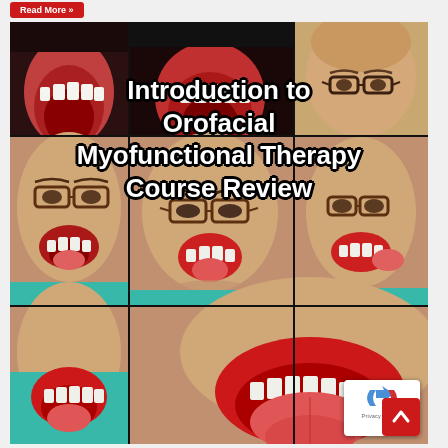Read More »
[Figure (photo): Collage of 6 photos of a bald man with glasses making various mouth/tongue exercises for orofacial myofunctional therapy, with text overlay reading 'Introduction to Orofacial Myofunctional Therapy Course Review']
Introduction to Orofacial Myofunctional Therapy Course Review